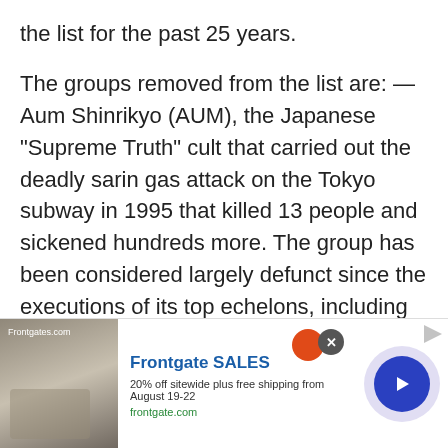the list for the past 25 years.
The groups removed from the list are: — Aum Shinrikyo (AUM), the Japanese “Supreme Truth” cult that carried out the deadly sarin gas attack on the Tokyo subway in 1995 that killed 13 people and sickened hundreds more. The group has been considered largely defunct since the executions of its top echelons, including leader Shoko Asahara, in 2018.
[Figure (other): Gray background area below article text]
[Figure (other): Advertisement banner for Frontgate SALES showing outdoor furniture with fire pit. Text: Frontgate SALES, 20% off sitewide plus free shipping from August 19-22, frontgate.com]